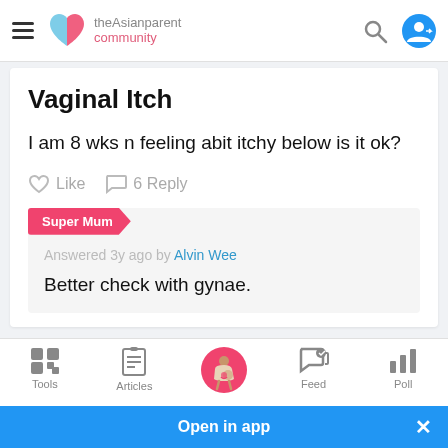theAsianparent community
Vaginal Itch
I am 8 wks n feeling abit itchy below is it ok?
Like  6 Reply
Super Mum
Answered 3y ago by Alvin Wee
Better check with gynae.
Tools  Articles  Feed  Poll
Open in app